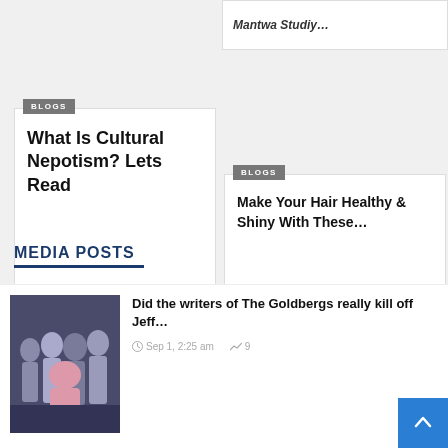Mantwa Studiy...
BLOGS
What Is Cultural Nepotism? Lets Read
BLOGS
Make Your Hair Healthy & Shiny With These...
[Figure (photo): Advertisement banner showing multiple iPhone models in different colors]
MEDIA POSTS
[Figure (photo): Group photo of The Goldbergs TV show cast]
Did the writers of The Goldbergs really kill off Jeff...
Sep 1, 2:25 am
9